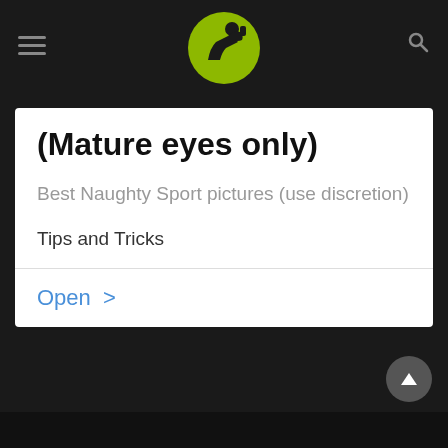[Figure (logo): Green circle logo with black silhouette of person flexing/drinking, website logo]
(Mature eyes only)
Best Naughty Sport pictures (use discretion)
Tips and Tricks
Open >